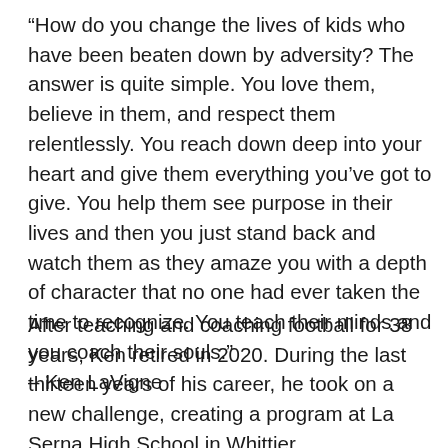“How do you change the lives of kids who have been beaten down by adversity? The answer is quite simple. You love them, believe in them, and respect them relentlessly. You reach down deep into your heart and give them everything you’ve got to give. You help them see purpose in their lives and then you just stand back and watch them as they amaze you with a depth of character that no one had ever taken the time to recognize. You teach their minds and you coach their souls.” – Ken LaVigne
After teaching and coaching football for 38 years, Ken retired in 2020. During the last thirteen years of his career, he took on a new challenge, creating a program at La Serna High School in Whittier,